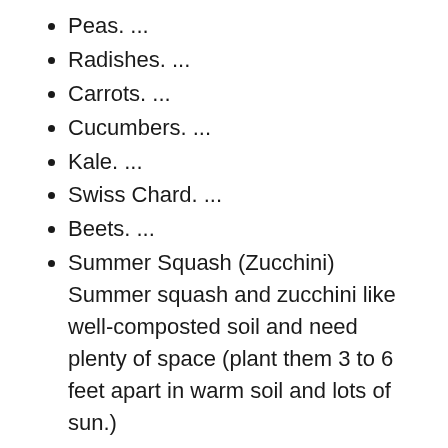Peas. ...
Radishes. ...
Carrots. ...
Cucumbers. ...
Kale. ...
Swiss Chard. ...
Beets. ...
Summer Squash (Zucchini) Summer squash and zucchini like well-composted soil and need plenty of space (plant them 3 to 6 feet apart in warm soil and lots of sun.)
Can you plant in winter Australia?
The Australian winter is generally milder,